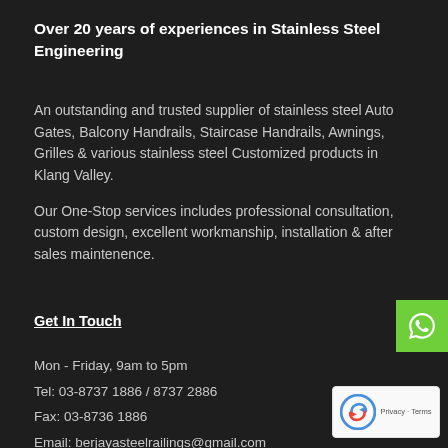Over 20 years of experiences in Stainless Steel Engineering
An outstanding and trusted supplier of stainless steel Auto Gates, Balcony Handrails, Staircase Handrails, Awnings, Grilles & various stainless steel Customized products in Klang Valley.
Our One-Stop services includes professional consultation, custom design, excellent workmanship, installation & after sales maintenence.
Get In Touch
Mon - Friday, 9am to 5pm
Tel: 03-8737 1886 / 8737 2886
Fax: 03-8736 1886
Email: berjayasteelrailings@gmail.com